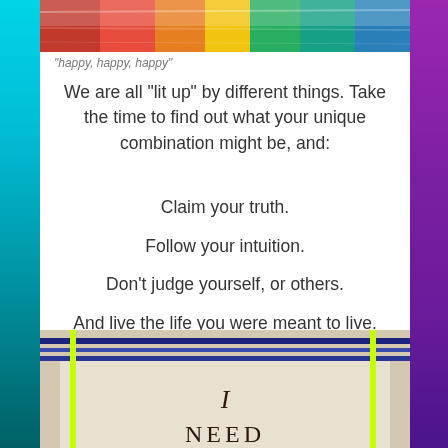[Figure (photo): Colorful abstract top image strip with bright colors including red, yellow, teal, and blue]
“happy, happy, happy”
We are all “lit up” by different things. Take the time to find out what your unique combination might be, and:
Claim your truth.
Follow your intuition.
Don’t judge yourself, or others.
And live the life you were meant to live.
[Figure (photo): Photo of a card or sign with text reading 'I NEED' with blue and yellow-green rubber bands or strings across it]